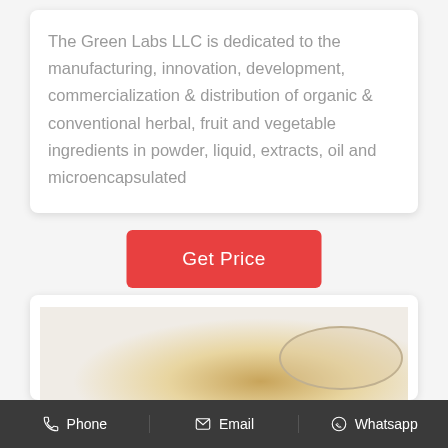The Green Labs LLC is dedicated to the manufacturing, innovation, development, commercialization & distribution of organic & conventional herbal, fruit and vegetable ingredients in powder, liquid, extracts, oil and microencapsulated
Get Price
[Figure (photo): Photo of herbal/fruit powder in a bowl or plate on a light background]
Phone  Email  Whatsapp